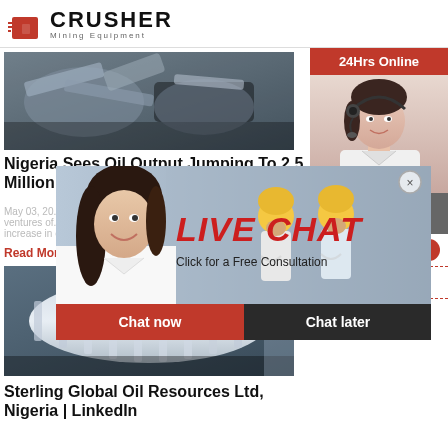[Figure (logo): Crusher Mining Equipment logo with red shopping bag icon and bold CRUSHER text]
[Figure (photo): Mining machinery/equipment photo - metallic crushing equipment]
Nigeria Sees Oil Output Jumping To 2.5 Million Bpd By 2019 ...
May 03, 20... ventures of... increase in...
Read More
[Figure (photo): Live chat overlay with workers in yellow hard hats and customer service agent]
[Figure (photo): Industrial ball mill equipment photo]
Sterling Global Oil Resources Ltd, Nigeria | LinkedIn
24Hrs Online
[Figure (photo): Customer service agent with headset on right sidebar]
Need questions & suggestion?
Chat Now
Enquiry
limingjlmofen@sina.com